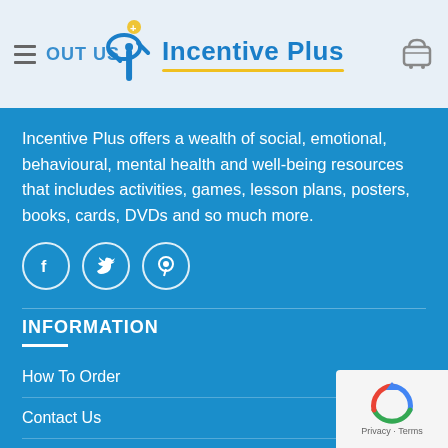Incentive Plus — About Us
Incentive Plus offers a wealth of social, emotional, behavioural, mental health and well-being resources that includes activities, games, lesson plans, posters, books, cards, DVDs and so much more.
[Figure (infographic): Three social media icon buttons in circles: Facebook (f), Twitter (bird), Pinterest (P)]
INFORMATION
How To Order
Contact Us
Delivery
Returns